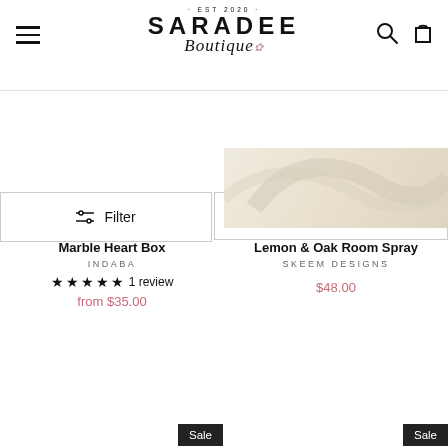[Figure (logo): Saradee Boutique logo with EST 2020 text, bold SARADEE in caps, and cursive Boutique script with floral decoration]
[Figure (other): Filter icon (sliders) and hamburger menu icon on left; search and shopping bag icons on right]
Filter
Best selling
[Figure (photo): Decorative cream/beige swirl background image on right side]
Marble Heart Box
INDABA
★★★★★ 1 review
from $35.00
Lemon & Oak Room Spray
SKEEM DESIGNS
$48.00
Sale
Sale